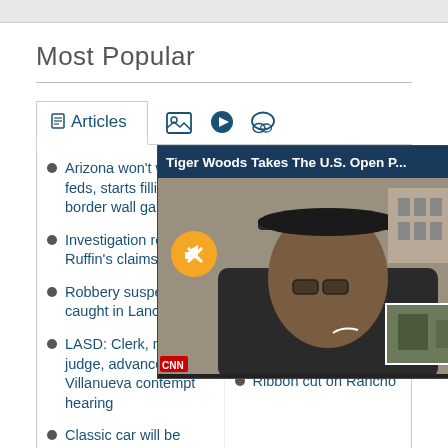Most Popular
[Figure (screenshot): Tab bar with Articles (selected), image icon, play icon, and chat icon]
Arizona won't wait for feds, starts filling border wall gaps
Mojave set to achieve …
Investigation refutes Ruffin's claims
Robbery suspect caught in Lancaster
LASD: Clerk, not judge, advanced Villanueva contempt hearing
Hofbauer says during address
Classic car will be available
Ribbon cut on Rancho
[Figure (screenshot): Video popup overlay: 'Tiger Woods Takes The U.S. Open P...' with close button, muted video of Tiger Woods, and a small thumbnail inset]